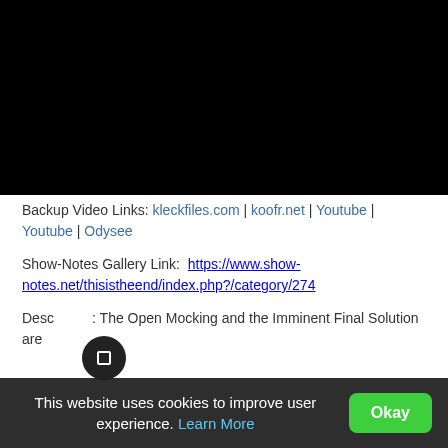[Figure (screenshot): Black video player area at the top of the page]
Backup Video Links: kleckfiles.com | koofr.net | Youtube | Youtube | Odysee
Show-Notes Gallery Link: https://www.show-notes.net/thisistheend/index.php?/category/274
Description: The Open Mocking and the Imminent Final Solution are
This website uses cookies to improve user experience. Learn More   Okay